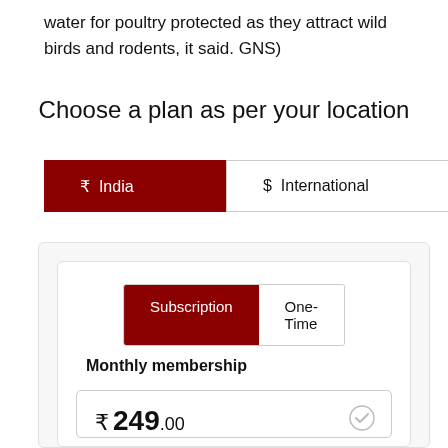water for poultry protected as they attract wild birds and rodents, it said. GNS)
Choose a plan as per your location
₹  India    $  International
Subscription  One-Time
Monthly membership
₹ 249.00
Frequency: Monthly